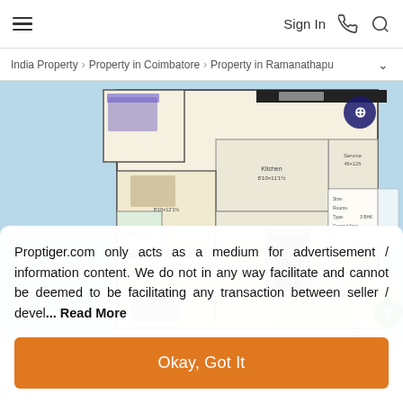Sign In
India Property > Property in Coimbatore > Property in Ramanathapuram
[Figure (schematic): Apartment floor plan showing multiple rooms including bedrooms, kitchen, hall, and service areas on a light blue background. A compass rose is visible in the top right corner. A green circle with number 7 is shown at bottom right.]
Proptiger.com only acts as a medium for advertisement / information content. We do not in any way facilitate and cannot be deemed to be facilitating any transaction between seller / devel... Read More
Okay, Got It